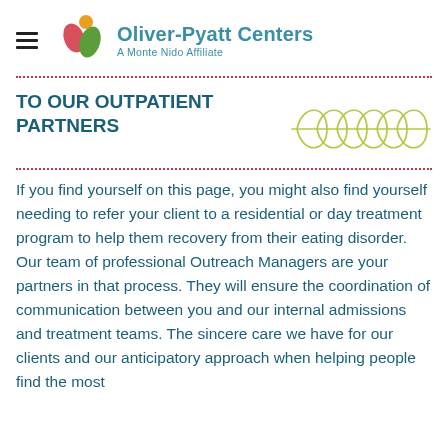Oliver-Pyatt Centers — A Monte Nido Affiliate
TO OUR OUTPATIENT PARTNERS
If you find yourself on this page, you might also find yourself needing to refer your client to a residential or day treatment program to help them recovery from their eating disorder. Our team of professional Outreach Managers are your partners in that process. They will ensure the coordination of communication between you and our internal admissions and treatment teams. The sincere care we have for our clients and our anticipatory approach when helping people find the most